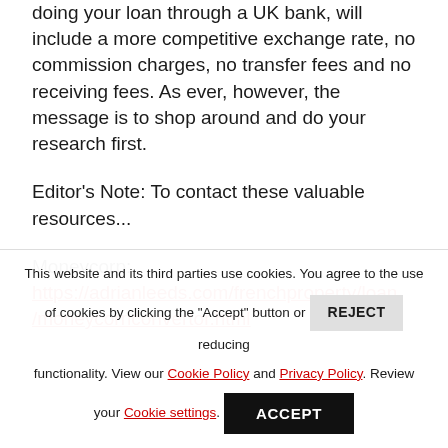doing your loan through a UK bank, will include a more competitive exchange rate, no commission charges, no transfer fees and no receiving fees. As ever, however, the message is to shop around and do your research first.
Editor's Note: To contact these valuable resources...
Moneycorp: https://adrianleeds.com/frenchproperty/loan/moneycornconvertor.html
This website and its third parties use cookies. You agree to the use of cookies by clicking the "Accept" button or REJECT reducing functionality. View our Cookie Policy and Privacy Policy. Review your Cookie settings.